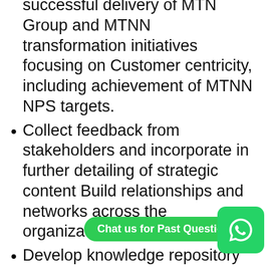Drive planned strategy for the successful delivery of MTN Group and MTNN transformation initiatives focusing on Customer centricity, including achievement of MTNN NPS targets.
Collect feedback from stakeholders and incorporate in further detailing of strategic content Build relationships and networks across the organization's
Develop knowledge repository and playbooks for the Transformation Office to embed practices
Work with internal stakeholders to develop resourcing plans and requirements for initiatives within the TO
Provide internal consulting support and facilitate Transformation Office